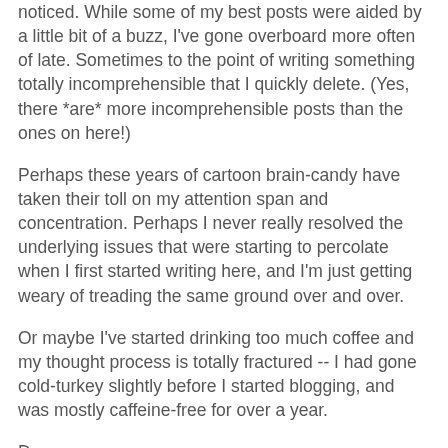noticed. While some of my best posts were aided by a little bit of a buzz, I've gone overboard more often of late. Sometimes to the point of writing something totally incomprehensible that I quickly delete. (Yes, there *are* more incomprehensible posts than the ones on here!)
Perhaps these years of cartoon brain-candy have taken their toll on my attention span and concentration. Perhaps I never really resolved the underlying issues that were starting to percolate when I first started writing here, and I'm just getting weary of treading the same ground over and over.
Or maybe I've started drinking too much coffee and my thought process is totally fractured -- I had gone cold-turkey slightly before I started blogging, and was mostly caffeine-free for over a year.
Dunno.
But, I'm still here and I still want to write and I still want to work on improving how I write and what I write about. But I also want to keep my "stream-of-conciousness" avenue